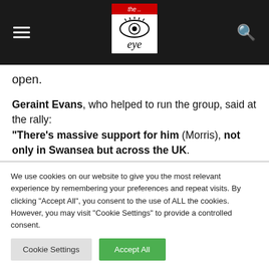The Eye — navigation header with logo
open.
Geraint Evans, who helped to run the group, said at the rally: "There's massive support for him (Morris), not only in Swansea but across the UK.

"We are here to raise awareness in Swansea for the people who are not on social media.
We use cookies on our website to give you the most relevant experience by remembering your preferences and repeat visits. By clicking "Accept All", you consent to the use of ALL the cookies. However, you may visit "Cookie Settings" to provide a controlled consent.